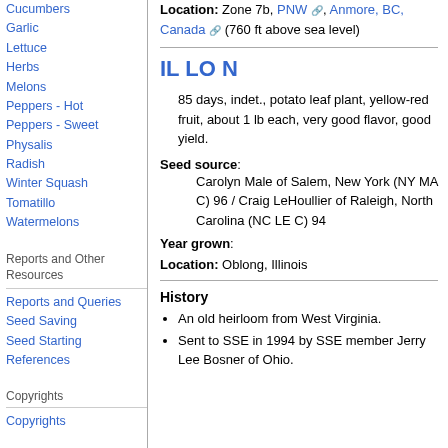Cucumbers
Garlic
Lettuce
Herbs
Melons
Peppers - Hot
Peppers - Sweet
Physalis
Radish
Winter Squash
Tomatillo
Watermelons
Reports and Other Resources
Reports and Queries
Seed Saving
Seed Starting
References
Copyrights
Copyrights
Location: Zone 7b, PNW, Anmore, BC, Canada (760 ft above sea level)
IL LO N
85 days, indet., potato leaf plant, yellow-red fruit, about 1 lb each, very good flavor, good yield.
Seed source: Carolyn Male of Salem, New York (NY MA C) 96 / Craig LeHoullier of Raleigh, North Carolina (NC LE C) 94
Year grown:
Location: Oblong, Illinois
History
An old heirloom from West Virginia.
Sent to SSE in 1994 by SSE member Jerry Lee Bosner of Ohio.